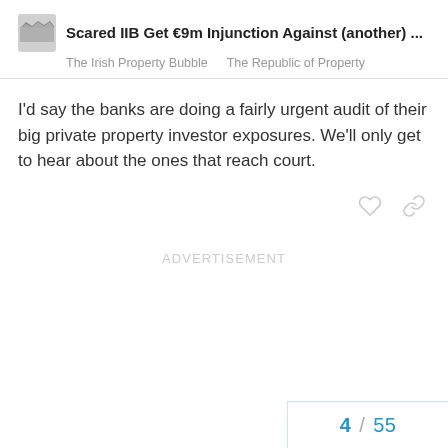Scared IIB Get €9m Injunction Against (another) ...
The Irish Property Bubble   The Republic of Property
I'd say the banks are doing a fairly urgent audit of their big private property investor exposures. We'll only get to hear about the ones that reach court.
ADVERTISEMENT
4 / 55